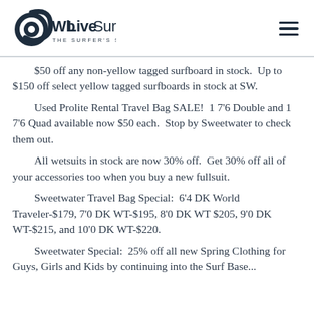WbLiveSurf — The Surfer's Source
$50 off any non-yellow tagged surfboard in stock.  Up to $150 off select yellow tagged surfboards in stock at SW.
Used Prolite Rental Travel Bag SALE!  1 7'6 Double and 1 7'6 Quad available now $50 each.  Stop by Sweetwater to check them out.
All wetsuits in stock are now 30% off.  Get 30% off all of your accessories too when you buy a new fullsuit.
Sweetwater Travel Bag Special:  6'4 DK World Traveler-$179, 7'0 DK WT-$195, 8'0 DK WT $205, 9'0 DK WT-$215, and 10'0 DK WT-$220.
Sweetwater Special:  25% off all new Spring Clothing for Guys, Girls and Kids by continuing into the Surf Base...